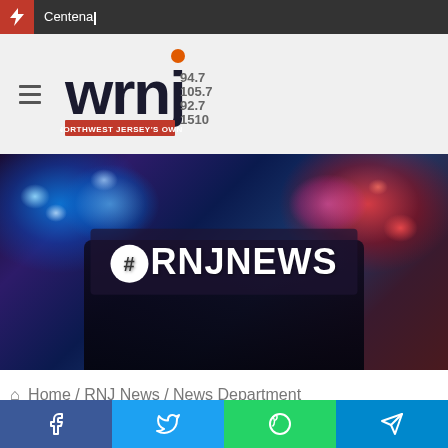Centena_
[Figure (logo): WRNJ radio station logo with frequencies 94.7, 105.7, 92.7, 1510 and tagline NORTHWEST JERSEY'S OWN]
[Figure (photo): Police car with flashing blue and red lights at night with #ORNJNEWS text overlay]
Home / RNJ News / News Department
[Figure (infographic): Social media share buttons: Facebook, Twitter, WhatsApp, Telegram]